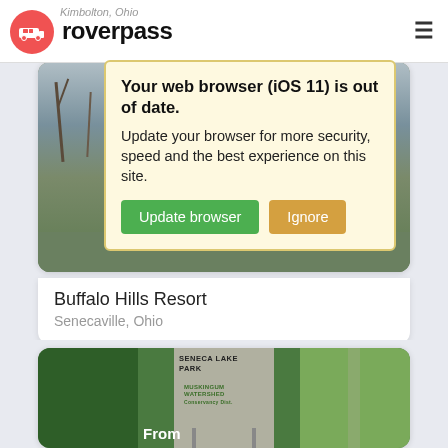roverpass — Kimbolton, Ohio
Your web browser (iOS 11) is out of date. Update your browser for more security, speed and the best experience on this site.
[Figure (screenshot): Browser update warning popup with 'Update browser' (green) and 'Ignore' (tan) buttons over a campground listing page]
[Figure (photo): Photo of Buffalo Hills Resort campground in winter]
Buffalo Hills Resort
Senecaville, Ohio
[Figure (photo): Photo of Seneca Lake Park with Muskingum Watershed sign, partial view, text 'From' visible]